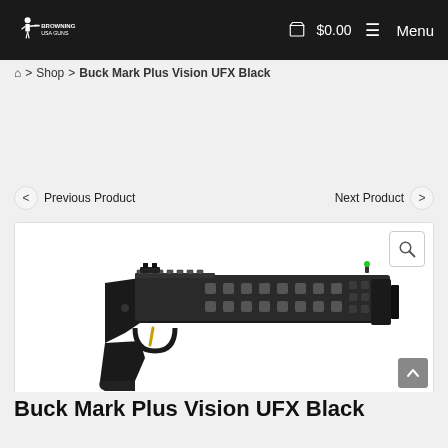Browning USA Guns — $0.00  Menu
Home > Shop > Buck Mark Plus Vision UFX Black
< Previous Product    Next Product >
[Figure (photo): Browning Buck Mark Plus Vision UFX Black pistol shown in profile view, black finish with ventilated barrel shroud and green fiber optic front sight, with a magnify/zoom icon in the top right corner of the image box.]
Buck Mark Plus Vision UFX Black